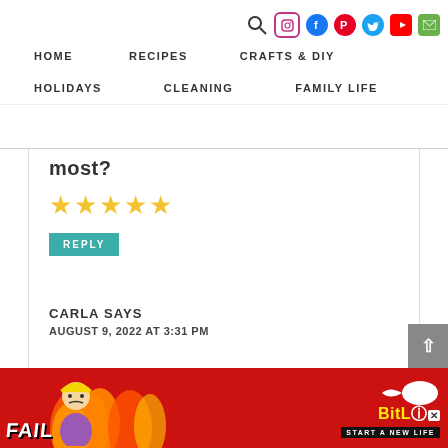HOME   RECIPES   CRAFTS & DIY   HOLIDAYS   CLEANING   FAMILY LIFE
most?
[Figure (other): 5 yellow star rating icons]
REPLY
CARLA SAYS
AUGUST 9, 2022 AT 3:31 PM
[Figure (other): BitLife advertisement banner - FAIL text with character, flames, BitLife logo, START A NEW LIFE text]